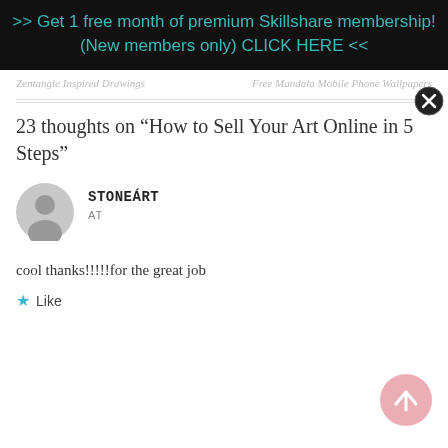>> Get 1 free month of premium Skillshare membership! (New members only) CLICK HERE <<
Zentangle Inspired Drawings
Free Mandala Mobile Phone Wallpapers
23 thoughts on “How to Sell Your Art Online in 5 Steps”
STONEÁRT
AT
cool thanks!!!!!for the great job
Like